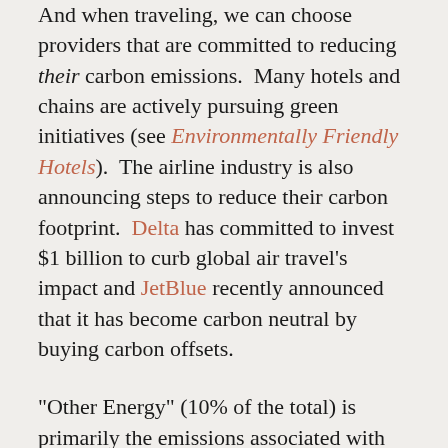And when traveling, we can choose providers that are committed to reducing their carbon emissions.  Many hotels and chains are actively pursuing green initiatives (see Environmentally Friendly Hotels).  The airline industry is also announcing steps to reduce their carbon footprint.  Delta has committed to invest $1 billion to curb global air travel's impact and JetBlue recently announced that it has become carbon neutral by buying carbon offsets.

"Other Energy" (10% of the total) is primarily the emissions associated with extraction and transportation of raw materials.  We can make a difference here too by keeping our smart phone longer because keeping the old one